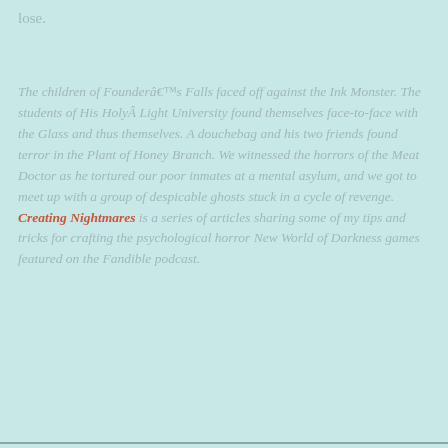lose.
The children of Founderâ€™s Falls faced off against the Ink Monster. The students of His HolyÂ Light University found themselves face-to-face with the Glass and thus themselves. A douchebag and his two friends found terror in the Plant of Honey Branch. We witnessed the horrors of the Meat Doctor as he tortured our poor inmates at a mental asylum, and we got to meet up with a group of despicable ghosts stuck in a cycle of revenge. Creating Nightmares is a series of articles sharing some of my tips and tricks for crafting the psychological horror New World of Darkness games featured on the Fandible podcast.